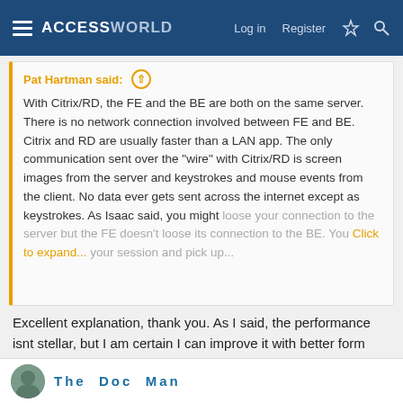ACCESSWORLD  Log in  Register
Pat Hartman said: ↑
With Citrix/RD, the FE and the BE are both on the same server. There is no network connection involved between FE and BE. Citrix and RD are usually faster than a LAN app. The only communication sent over the "wire" with Citrix/RD is screen images from the server and keystrokes and mouse events from the client. No data ever gets sent across the internet except as keystrokes. As Isaac said, you might loose your connection to the server but the FE doesn't loose its connection to the BE. You can reconnect your session and pick up...
Click to expand...
Excellent explanation, thank you. As I said, the performance isnt stellar, but I am certain I can improve it with better form design and more efficient queries.

Really appreciate everyone who contributed to this thread. If anyone has any tips and tricks to working with a Citrix/Thin Client setup, I'm ALL ears (eyes)...
The Doc Man